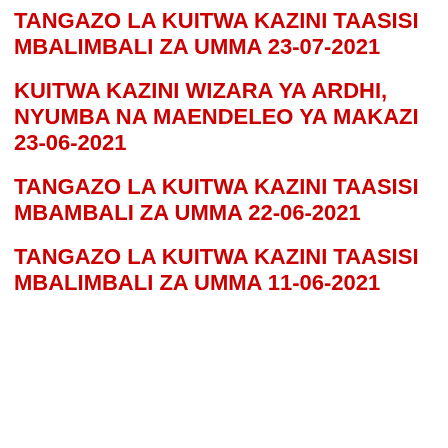TANGAZO LA KUITWA KAZINI TAASISI MBALIMBALI ZA UMMA 23-07-2021
KUITWA KAZINI WIZARA YA ARDHI, NYUMBA NA MAENDELEO YA MAKAZI 23-06-2021
TANGAZO LA KUITWA KAZINI TAASISI MBAMBALI ZA UMMA 22-06-2021
TANGAZO LA KUITWA KAZINI TAASISI MBALIMBALI ZA UMMA 11-06-2021